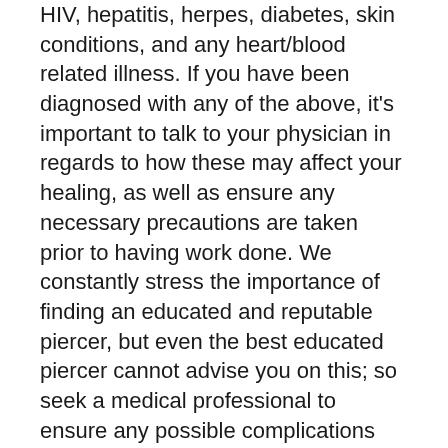HIV, hepatitis, herpes, diabetes, skin conditions, and any heart/blood related illness. If you have been diagnosed with any of the above, it's important to talk to your physician in regards to how these may affect your healing, as well as ensure any necessary precautions are taken prior to having work done. We constantly stress the importance of finding an educated and reputable piercer, but even the best educated piercer cannot advise you on this; so seek a medical professional to ensure any possible complications are addressed and accounted for. Once given the okay by your doctor, the next step is to inform your piercer and talk about any special considerations. Here are a few examples: someone with a